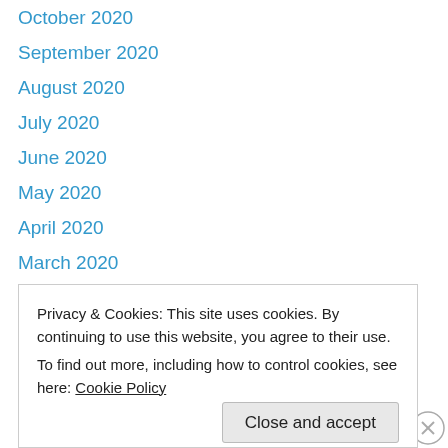October 2020
September 2020
August 2020
July 2020
June 2020
May 2020
April 2020
March 2020
February 2020
January 2020
December 2019
November 2019
October 2019
September 2019
March 2019
Privacy & Cookies: This site uses cookies. By continuing to use this website, you agree to their use.
To find out more, including how to control cookies, see here: Cookie Policy